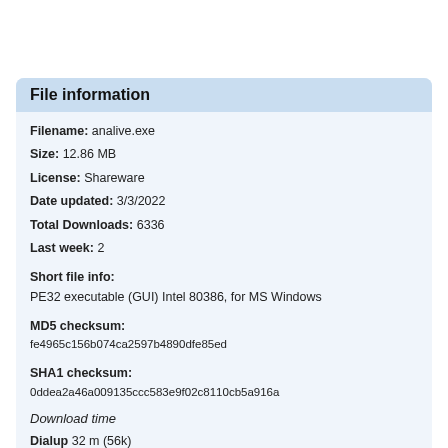File information
Filename: analive.exe
Size: 12.86 MB
License: Shareware
Date updated: 3/3/2022
Total Downloads: 6336
Last week: 2
Short file info:
PE32 executable (GUI) Intel 80386, for MS Windows
MD5 checksum:
fe4965c156b074ca2597b4890dfe85ed
SHA1 checksum:
0ddea2a46a009135ccc583e9f02c8110cb5a916a
Download time
Dialup 32 m (56k)
ISDN 14 m (128k)